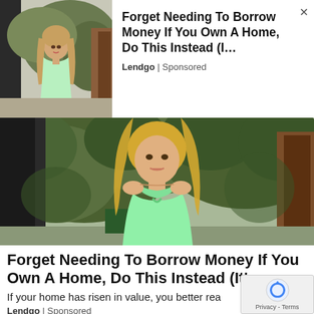[Figure (photo): Small thumbnail of a woman in a light green dress standing outdoors near trees and a wall]
Forget Needing To Borrow Money If You Own A Home, Do This Instead (I...
Lendgo | Sponsored
[Figure (photo): Large photo of a blonde woman in a light green/mint low-cut top standing outdoors with green trees and a dark door behind her]
Forget Needing To Borrow Money If You Own A Home, Do This Instead (It's...
If your home has risen in value, you better rea
Lendgo | Sponsored